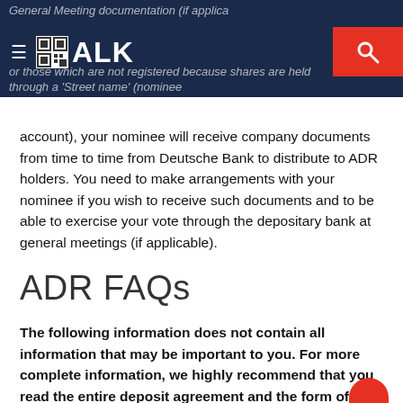General Meeting documentation (if applicable) or those which are not registered because shares are held through a 'Street name' (nominee ALK
account), your nominee will receive company documents from time to time from Deutsche Bank to distribute to ADR holders. You need to make arrangements with your nominee if you wish to receive such documents and to be able to exercise your vote through the depositary bank at general meetings (if applicable).
ADR FAQs
The following information does not contain all information that may be important to you. For more complete information, we highly recommend that you read the entire deposit agreement and the form of American Depositary Receipt, which contains the American Depositary Shares terms.